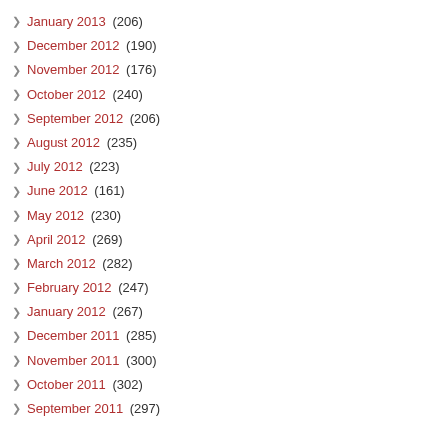January 2013 (206)
December 2012 (190)
November 2012 (176)
October 2012 (240)
September 2012 (206)
August 2012 (235)
July 2012 (223)
June 2012 (161)
May 2012 (230)
April 2012 (269)
March 2012 (282)
February 2012 (247)
January 2012 (267)
December 2011 (285)
November 2011 (300)
October 2011 (302)
September 2011 (297)